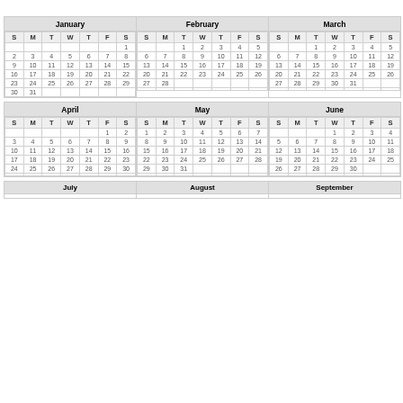| January S | January M | January T | January W | January T | January F | January S | February S | February M | February T | February W | February T | February F | February S | March S | March M | March T | March W | March T | March F | March S |
| --- | --- | --- | --- | --- | --- | --- | --- | --- | --- | --- | --- | --- | --- | --- | --- | --- | --- | --- | --- | --- |
| April S | April M | April T | April W | April T | April F | April S | May S | May M | May T | May W | May T | May F | May S | June S | June M | June T | June W | June T | June F | June S |
| --- | --- | --- | --- | --- | --- | --- | --- | --- | --- | --- | --- | --- | --- | --- | --- | --- | --- | --- | --- | --- |